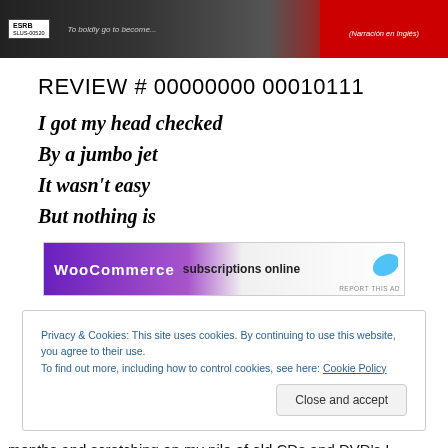[Figure (photo): Top banner image showing a game or media product with ESRB label, barcode area, and red section with Spanish text '(Narración en Inglés)']
REVIEW # 00000000 00010111
I got my head checked
By a jumbo jet
It wasn't easy
But nothing is
[Figure (screenshot): WooCommerce advertisement banner with text 'subscriptions online' and a blue leaf graphic, with 'REPORT THIS AD' label]
Privacy & Cookies: This site uses cookies. By continuing to use this website, you agree to their use.
To find out more, including how to control cookies, see here: Cookie Policy
Close and accept
months and scratching on my pile of old CDs and DVD's I